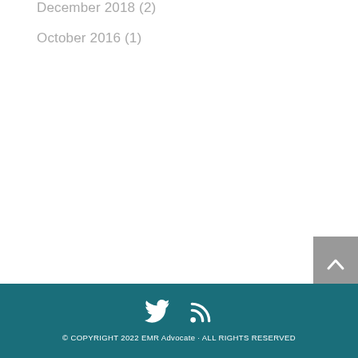December 2018 (2)
October 2016 (1)
© COPYRIGHT 2022 EMR Advocate · ALL RIGHTS RESERVED